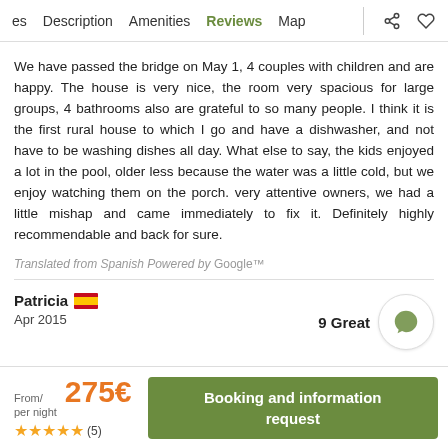es  Description  Amenities  Reviews  Map
We have passed the bridge on May 1, 4 couples with children and are happy. The house is very nice, the room very spacious for large groups, 4 bathrooms also are grateful to so many people. I think it is the first rural house to which I go and have a dishwasher, and not have to be washing dishes all day. What else to say, the kids enjoyed a lot in the pool, older less because the water was a little cold, but we enjoy watching them on the porch. very attentive owners, we had a little mishap and came immediately to fix it. Definitely highly recommendable and back for sure.
Translated from Spanish Powered by Google™
Patricia  🇪🇸   9 Great
Apr 2015
From/ per night  275€  ★★★★★ (5)  Booking and information request